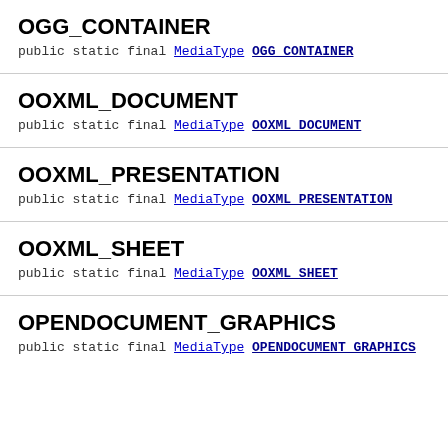OGG_CONTAINER
public static final MediaType OGG_CONTAINER
OOXML_DOCUMENT
public static final MediaType OOXML_DOCUMENT
OOXML_PRESENTATION
public static final MediaType OOXML_PRESENTATION
OOXML_SHEET
public static final MediaType OOXML_SHEET
OPENDOCUMENT_GRAPHICS
public static final MediaType OPENDOCUMENT_GRAPHICS